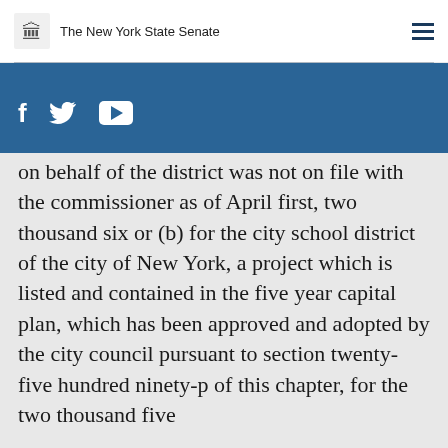The New York State Senate
on behalf of the district was not on file with the commissioner as of April first, two thousand six or (b) for the city school district of the city of New York, a project which is listed and contained in the five year capital plan, which has been approved and adopted by the city council pursuant to section twenty-five hundred ninety-p of this chapter, for the two thousand five thousand two thousand six fiscal